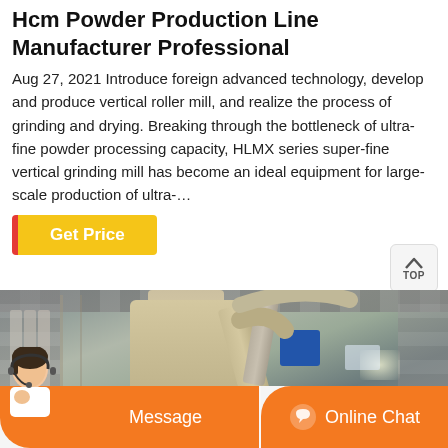Hcm Powder Production Line Manufacturer Professional
Aug 27, 2021 Introduce foreign advanced technology, develop and produce vertical roller mill, and realize the process of grinding and drying. Breaking through the bottleneck of ultra-fine powder processing capacity, HLMX series super-fine vertical grinding mill has become an ideal equipment for large-scale production of ultra-…
Get Price
[Figure (photo): Industrial powder production line equipment inside a factory building, showing a large vertical grinding mill with cylindrical body, pipes and motor unit, inside a corrugated metal building.]
Message   Online Chat